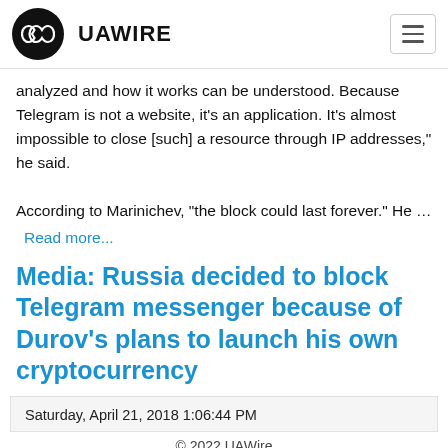UAWIRE
analyzed and how it works can be understood. Because Telegram is not a website, it's an application. It's almost impossible to close [such] a resource through IP addresses," he said.

According to Marinichev, "the block could last forever." He …
Read more...
Media: Russia decided to block Telegram messenger because of Durov's plans to launch his own cryptocurrency
Saturday, April 21, 2018 1:06:44 PM
© 2022 UAWire
Follow Us :